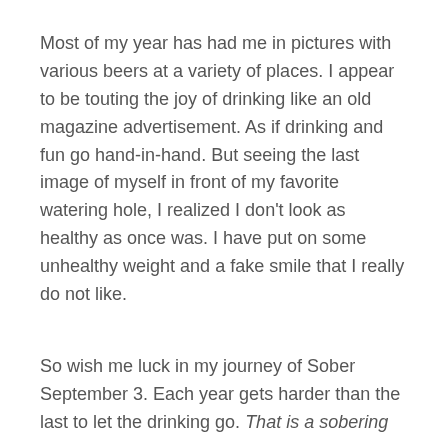Most of my year has had me in pictures with various beers at a variety of places. I appear to be touting the joy of drinking like an old magazine advertisement. As if drinking and fun go hand-in-hand. But seeing the last image of myself in front of my favorite watering hole, I realized I don't look as healthy as once was. I have put on some unhealthy weight and a fake smile that I really do not like.
So wish me luck in my journey of Sober September 3. Each year gets harder than the last to let the drinking go. That is a sobering